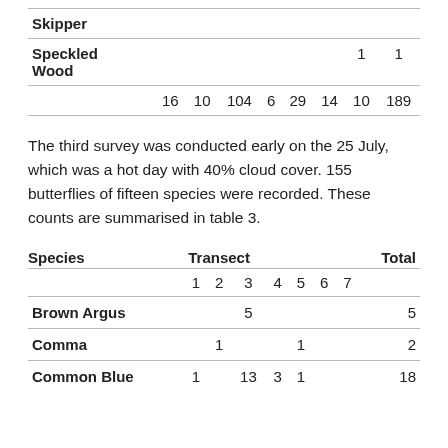| Species | 1 | 2 | 3 | 4 | 5 | 6 | 7 | Total |
| --- | --- | --- | --- | --- | --- | --- | --- | --- |
| Speckled Wood |  |  |  |  |  |  | 1 | 1 |
|  | 16 | 10 | 104 | 6 | 29 | 14 | 10 | 189 |
The third survey was conducted early on the 25 July, which was a hot day with 40% cloud cover. 155 butterflies of fifteen species were recorded. These counts are summarised in table 3.
| Species | Transect |  |  |  |  |  |  | Total |
| --- | --- | --- | --- | --- | --- | --- | --- | --- |
|  | 1 | 2 | 3 | 4 | 5 | 6 | 7 |  |
| Brown Argus |  |  | 5 |  |  |  |  | 5 |
| Comma |  | 1 |  |  | 1 |  |  | 2 |
| Common Blue | 1 |  | 13 | 3 | 1 |  |  | 18 |